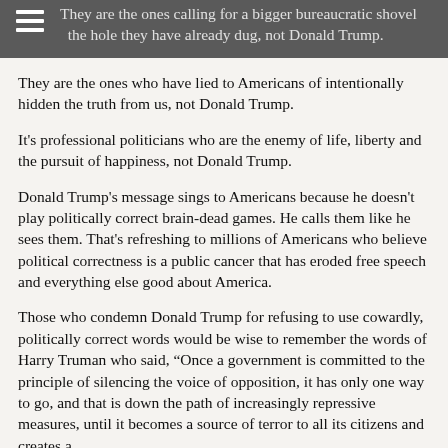They are the ones calling for a bigger bureaucratic shovel in the hole they have already dug, not Donald Trump.
They are the ones who have lied to Americans of intentionally hidden the truth from us, not Donald Trump.
It's professional politicians who are the enemy of life, liberty and the pursuit of happiness, not Donald Trump.
Donald Trump's message sings to Americans because he doesn't play politically correct brain-dead games. He calls them like he sees them. That's refreshing to millions of Americans who believe political correctness is a public cancer that has eroded free speech and everything else good about America.
Those who condemn Donald Trump for refusing to use cowardly, politically correct words would be wise to remember the words of Harry Truman who said, “Once a government is committed to the principle of silencing the voice of opposition, it has only one way to go, and that is down the path of increasingly repressive measures, until it becomes a source of terror to all its citizens and creates a